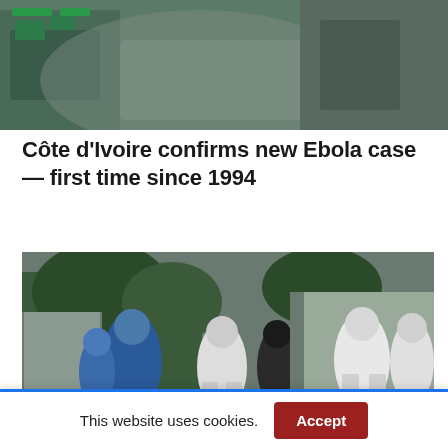[Figure (photo): Top portion of an image, partially cropped — appears to show medical or emergency equipment in green and grey tones]
Côte d'Ivoire confirms new Ebola case — first time since 1994
[Figure (photo): Health workers in white protective suits (PPE) and blue gear standing near a gate or fence, with trees visible in background — Ebola response scene]
[Figure (other): Advertisement banner with two 'In store' location badge items]
This website uses cookies.
Accept